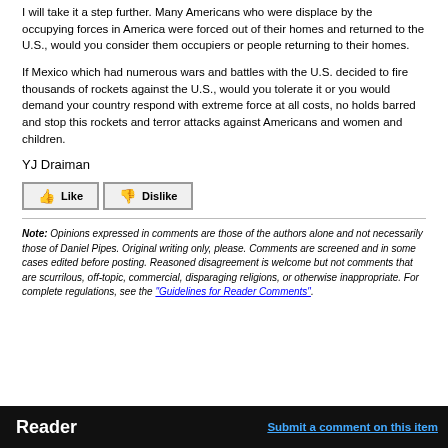I will take it a step further. Many Americans who were displace by the occupying forces in America were forced out of their homes and returned to the U.S., would you consider them occupiers or people returning to their homes.
If Mexico which had numerous wars and battles with the U.S. decided to fire thousands of rockets against the U.S., would you tolerate it or you would demand your country respond with extreme force at all costs, no holds barred and stop this rockets and terror attacks against Americans and women and children.
YJ Draiman
[Figure (other): Like and Dislike buttons]
Note: Opinions expressed in comments are those of the authors alone and not necessarily those of Daniel Pipes. Original writing only, please. Comments are screened and in some cases edited before posting. Reasoned disagreement is welcome but not comments that are scurrilous, off-topic, commercial, disparaging religions, or otherwise inappropriate. For complete regulations, see the "Guidelines for Reader Comments".
Reader | Submit a comment on this item